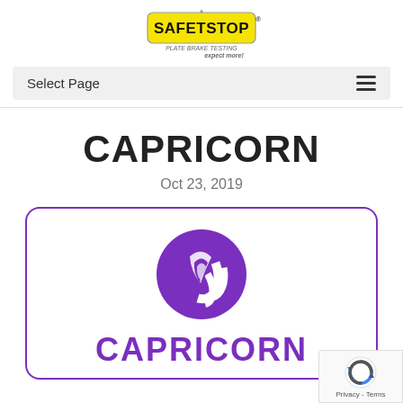[Figure (logo): SafeTStop logo — yellow rectangular badge with bold black text SAFETSTOP and tagline PLATE BRAKE TESTING expect more!]
Select Page
CAPRICORN
Oct 23, 2019
[Figure (logo): Capricorn logo — purple circular icon with stylized swoosh fins and bold purple CAPRICORN text below, inside a purple rounded border box]